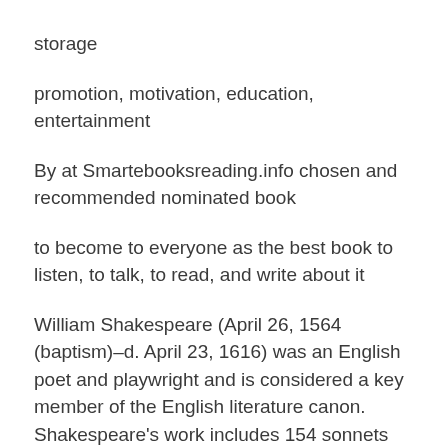storage
promotion, motivation, education, entertainment
By at Smartebooksreading.info chosen and recommended nominated book
to become to everyone as the best book to listen, to talk, to read, and write about it
William Shakespeare (April 26, 1564 (baptism)–d. April 23, 1616) was an English poet and playwright and is considered a key member of the English literature canon. Shakespeare's work includes 154 sonnets and 38